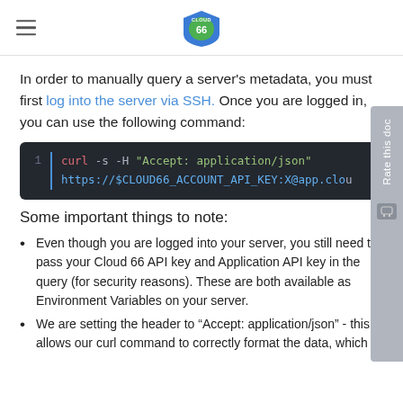Cloud 66 logo and navigation
In order to manually query a server's metadata, you must first log into the server via SSH. Once you are logged in, you can use the following command:
[Figure (screenshot): Code block showing: curl -s -H "Accept: application/json" https://$CLOUD66_ACCOUNT_API_KEY:X@app.clo...]
Some important things to note:
Even though you are logged into your server, you still need to pass your Cloud 66 API key and Application API key in the query (for security reasons). These are both available as Environment Variables on your server.
We are setting the header to “Accept: application/json” - this allows our curl command to correctly format the data, which is